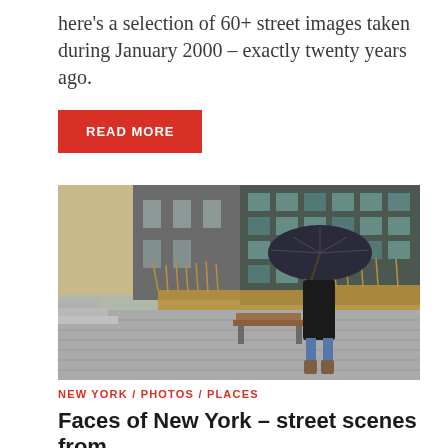here's a selection of 60+ street images taken during January 2000 – exactly twenty years ago.
READ MORE
[Figure (photo): A person holding a dark umbrella walking along a paved elevated park path (High Line, New York) surrounded by tall dry grasses, with modern buildings in the background.]
NEW YORK / PHOTOS / PLACES
Faces of New York – street scenes from